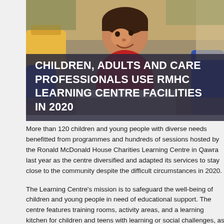[Figure (photo): A young child sitting at a table in a colorful classroom, smiling, with other children and learning materials in the background.]
CHILDREN, ADULTS AND CARE PROFESSIONALS USE RMHC LEARNING CENTRE FACILITIES IN 2020
More than 120 children and young people with diverse needs benefitted from programmes and hundreds of sessions hosted by the Ronald McDonald House Charities Learning Centre in Qawra last year as the centre diversified and adapted its services to stay close to the community despite the difficult circumstances in 2020.
The Learning Centre's mission is to safeguard the well-being of children and young people in need of educational support. The centre features training rooms, activity areas, and a learning kitchen for children and teens with learning or social challenges, as well as their families.
A total of 270 sessions and activities took place in 2020, with 91 aimed at supporting Caritas Malta in the delivery of Solidarity Meals provided by The